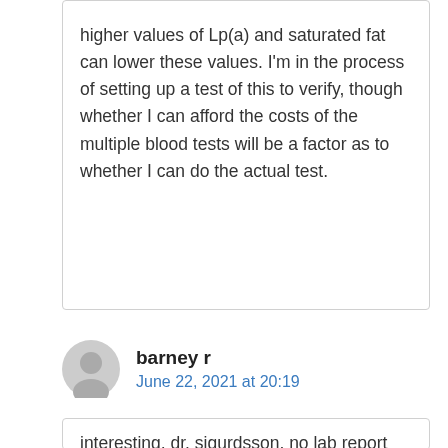higher values of Lp(a) and saturated fat can lower these values. I'm in the process of setting up a test of this to verify, though whether I can afford the costs of the multiple blood tests will be a factor as to whether I can do the actual test.
barney r
June 22, 2021 at 20:19
interesting, dr. sigurdsson, no lab report has included lp(a), everything